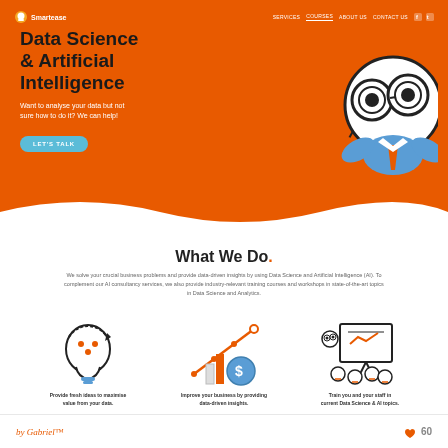[Figure (screenshot): Smartease website screenshot showing a Data Science & AI landing page with orange hero section, mascot character, navigation, What We Do section, and three feature icons]
by Gabriel™   👍 60